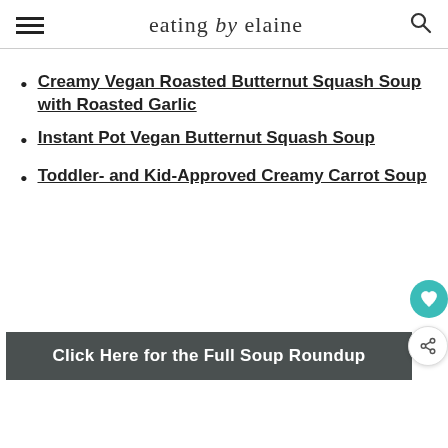eating by elaine
Creamy Vegan Roasted Butternut Squash Soup with Roasted Garlic
Instant Pot Vegan Butternut Squash Soup
Toddler- and Kid-Approved Creamy Carrot Soup
Click Here for the Full Soup Roundup